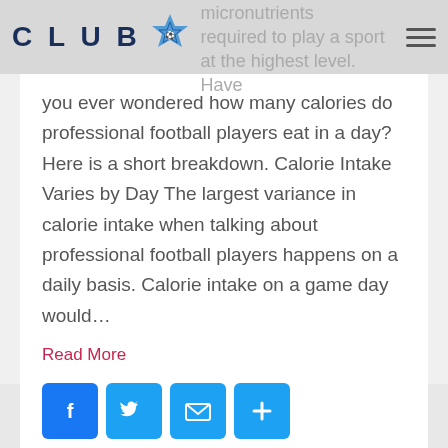CLUB [logo] macro and micronutrients required to play a sport at the highest level. Have
you ever wondered how many calories do professional football players eat in a day? Here is a short breakdown. Calorie Intake Varies by Day The largest variance in calorie intake when talking about professional football players happens on a daily basis. Calorie intake on a game day would…
Read More
[Figure (infographic): Social share buttons: Facebook, Twitter, Email, and Share (plus icon)]
Blog